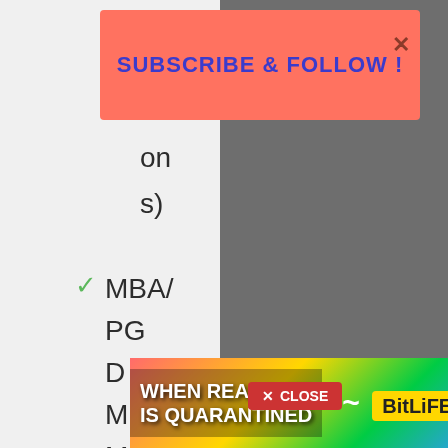[Figure (screenshot): Subscribe and Follow banner overlay with salmon/coral background and blue bold text reading 'SUBSCRIBE & FOLLOW !' with an X close button]
on s)
✓ MBA / PG D M M. Sc.
✓ BBA
✓ Certifi...
[Figure (screenshot): CLOSE button in red]
[Figure (screenshot): BitLife advertisement banner at bottom with rainbow gradient background and text 'WHEN REAL LIFE IS QUARANTINED' and BitLife logo]